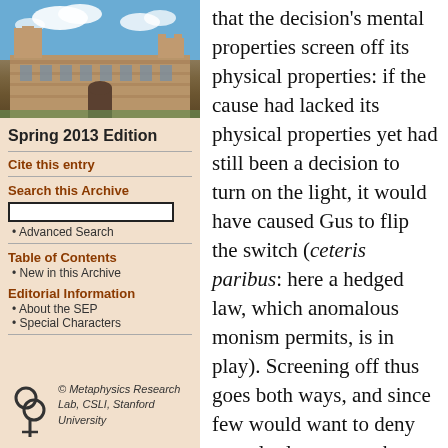[Figure (photo): Photo of a historic university building (sandstone architecture) with blue sky and clouds — Stanford/Sydney style campus building.]
Spring 2013 Edition
Cite this entry
Search this Archive
Advanced Search
Table of Contents
New in this Archive
Editorial Information
About the SEP
Special Characters
[Figure (logo): Metaphysics Research Lab logo — stylized interlocking circles symbol]
© Metaphysics Research Lab, CSLI, Stanford University
that the decision's mental properties screen off its physical properties: if the cause had lacked its physical properties yet had still been a decision to turn on the light, it would have caused Gus to flip the switch (ceteris paribus: here a hedged law, which anomalous monism permits, is in play). Screening off thus goes both ways, and since few would want to deny causal relevance to the physical properties, we should not let screening off impugn the significance of mental properties either. Antony (1991) replies that there is no symmetry here, at least not given anomalous monism.